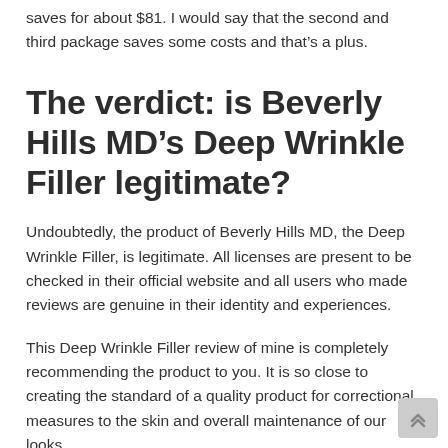saves for about $81. I would say that the second and third package saves some costs and that's a plus.
The verdict: is Beverly Hills MD's Deep Wrinkle Filler legitimate?
Undoubtedly, the product of Beverly Hills MD, the Deep Wrinkle Filler, is legitimate. All licenses are present to be checked in their official website and all users who made reviews are genuine in their identity and experiences.
This Deep Wrinkle Filler review of mine is completely recommending the product to you. It is so close to creating the standard of a quality product for correctional measures to the skin and overall maintenance of our looks.